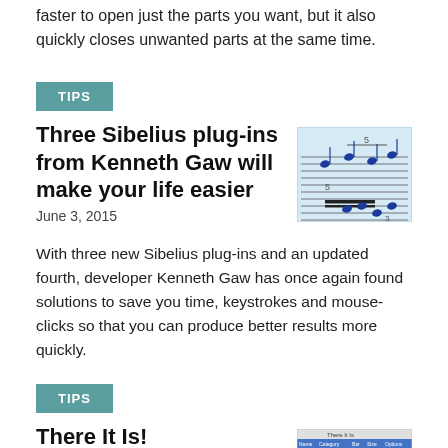faster to open just the parts you want, but it also quickly closes unwanted parts at the same time.
TIPS
Three Sibelius plug-ins from Kenneth Gaw will make your life easier
June 3, 2015
[Figure (screenshot): Screenshot of Sibelius music notation software showing blue musical notes on staff lines]
With three new Sibelius plug-ins and an updated fourth, developer Kenneth Gaw has once again found solutions to save you time, keystrokes and mouse-clicks so that you can produce better results more quickly.
TIPS
There It Is!
February 27, 2015
[Figure (screenshot): Screenshot of a software table or spreadsheet interface]